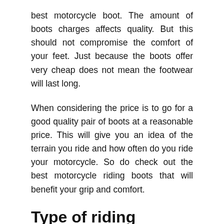best motorcycle boot. The amount of boots charges affects quality. But this should not compromise the comfort of your feet. Just because the boots offer very cheap does not mean the footwear will last long.
When considering the price is to go for a good quality pair of boots at a reasonable price. This will give you an idea of the terrain you ride and how often do you ride your motorcycle. So do check out the best motorcycle riding boots that will benefit your grip and comfort.
Type of riding
The pair of motorcycle boots will depend on the type of riding. If you are a simple commuter and you ride on simple roads, go for a pair of cruiser boots or short length shoes. If you like to have a sporty race, go for a pair of off-road boots. To ride both on and off the street,